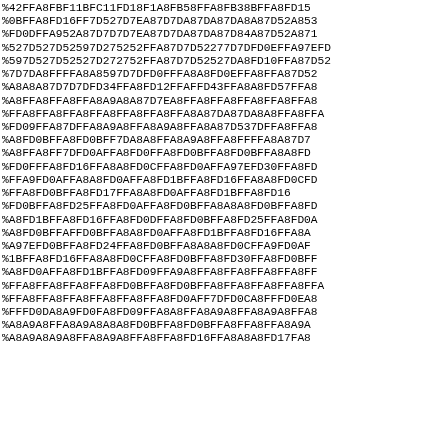%42FFA8FBF11BFC11FD18F1A8FB58FFA8FB38BFFA8FD15
%0BFFA8FD16FF7D527D7EA87D7DA87DA87DA8A87D52A853
%FD0DFFA952A87D7D7D7EA87D7DA87DA87D84A87D52A871
%527D527D52597D275252FFA87D7D52277D7DFD0EFFA97EFD
%597D527D52527D272752FFA87D7D52527DA8FD10FFA87D52
%7D7DA8FFFFA8A8597D7DFD0FFFA8A8FD0EFFA8FFA87D52
%A8A8A87D7D7DFD34FFA8FD12FFAFFD43FFA8A8FD57FFA8
%A8FFA8FFA8FFA8A9A8A87D7EA8FFA8FFA8FFA8FFA8FFA8
%FFA8FFA8FFA8FFA8FFA8FFA8FFA8A87DA87DA8A8FFA8FFA
%FD09FFA87DFFA8A9A8FFA8A9A8FFA8A87D537DFFA8FFA8
%A8FD0BFFA8FD0BFF7DA8A8FFA8A9A8FFA8FFFFA8A87D7
%A8FFA8FF7DFD0AFFA8FD0FFA8FD0BFFA8FD0BFFA8A8FD
%FD0FFFA8FD16FFA8A8FD0CFFA8FD0AFFA97EFD30FFA8FD
%FFA9FD0AFFA8A8FD0AFFA8FD1BFFA8FD16FFA8A8FD0CFD
%FFA8FD0BFFA8FD17FFA8A8FD0AFFA8FD1BFFA8FD16
%FD0BFFA8FD25FFA8FD0AFFA8FD0BFFA8A8A8FD0BFFA8FD
%A8FD1BFFA8FD16FFA8FD0DFFA8FD0BFFA8FD25FFA8FD0A
%A8FD0BFFAFFD0BFFA8A8FD0AFFA8FD1BFFA8FD16FFA8A
%A97EFD0BFFA8FD24FFA8FD0BFFA8A8A8FD0CFFA9FD0AF
%1BFFA8FD16FFA8A8FD0CFFA8FD0BFFA8FD30FFA8FD0BFF
%A8FD0AFFA8FD1BFFA8FD09FFA9A8FFA8FFA8FFA8FFA8FF
%FFA8FFA8FFA8FFA8FD0BFFA8FD0BFFA8FFA8FFA8FFA8FFA
%FFA8FFA8FFA8FFA8FFA8FFA8FD0AFF7DFD0CA8FFFD0EA8
%FFFD0DA8A9FD0FA8FD09FFA8A8FFA8A9A8FFA8A9A8FFA8
%A8A9A8FFA8A9A8A8A8FD0BFFA8FD0BFFA8FFA8FFA8A9A
%A8A9A8A9A8FFA8A9A8FFA8FFA8FD16FFA8A8A8FD17FA8